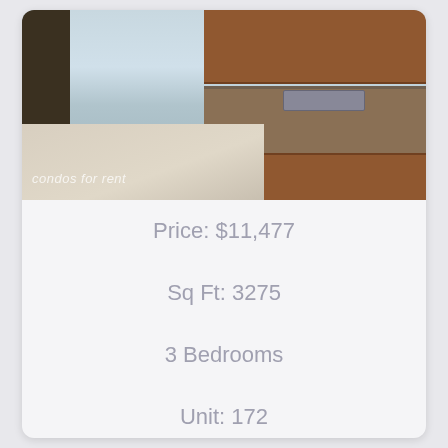[Figure (photo): Interior photo of a kitchen/dining area with wood cabinets, granite countertops, stainless steel sink, and light tile floors. Watermark text reads 'condos for rent'.]
Price: $11,477
Sq Ft: 3275
3 Bedrooms
Unit: 172